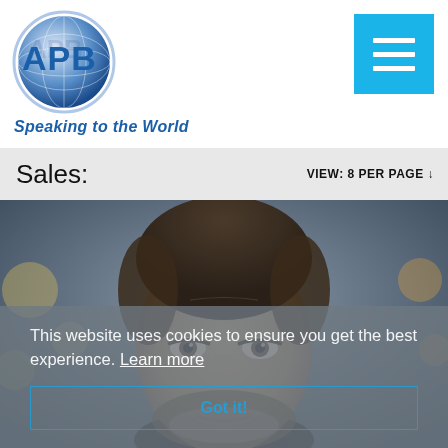[Figure (logo): APB Speaking to the World logo with globe graphic and text]
[Figure (other): Blue hamburger menu button with three white horizontal lines]
Sales:
VIEW: 8 PER PAGE ↓
[Figure (photo): Close-up photo of a middle-aged man with dark hair and beard, blurred background]
This website uses cookies to ensure you get the best experience. Learn more
Got it!